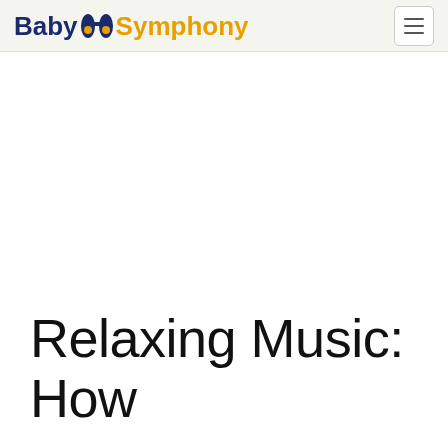Baby Symphony
Relaxing Music: How